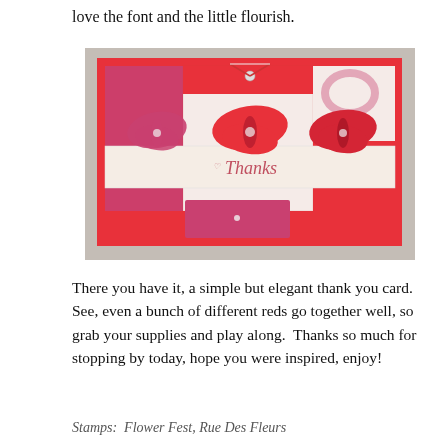love the font and the little flourish.
[Figure (photo): A handmade thank you card featuring three red and pink butterfly die-cuts with rhinestone centers on a cream banner reading 'Thanks' in script, layered on red and floral patterned papers with a red and white twine bow at the top.]
There you have it, a simple but elegant thank you card. See, even a bunch of different reds go together well, so grab your supplies and play along.  Thanks so much for stopping by today, hope you were inspired, enjoy!
Stamps:  Flower Fest, Rue Des Fleurs